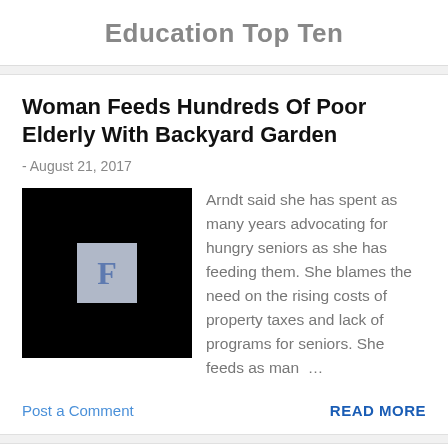Education Top Ten
Woman Feeds Hundreds Of Poor Elderly With Backyard Garden
- August 21, 2017
[Figure (logo): Black square thumbnail with grey box containing letter F in blue]
Arndt said she has spent as many years advocating for hungry seniors as she has feeding them. She blames the need on the rising costs of property taxes and lack of programs for seniors. She feeds as man…
Post a Comment
READ MORE
America, Home of the Transactional